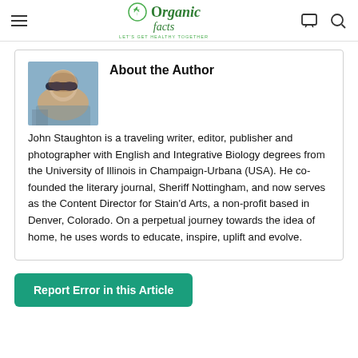Organic Facts — LET'S GET HEALTHY TOGETHER
About the Author
[Figure (photo): Profile photo of John Staughton wearing sunglasses outdoors]
John Staughton is a traveling writer, editor, publisher and photographer with English and Integrative Biology degrees from the University of Illinois in Champaign-Urbana (USA). He co-founded the literary journal, Sheriff Nottingham, and now serves as the Content Director for Stain'd Arts, a non-profit based in Denver, Colorado. On a perpetual journey towards the idea of home, he uses words to educate, inspire, uplift and evolve.
Report Error in this Article